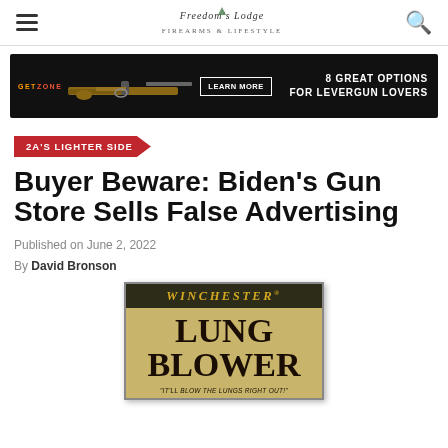Freedom's Lodge navigation bar with hamburger menu, logo, and search icon
[Figure (infographic): GetZone advertisement banner — black background with lever-action rifle image, 'LEARN MORE' button, '8 GREAT OPTIONS FOR LEVERGUN LOVERS' text]
2A'S LIGHTER SIDE
Buyer Beware: Biden's Gun Store Sells False Advertising
Published on June 2, 2022
By David Bronson
[Figure (photo): Parody Winchester ammunition box labeled 'LUNG BLOWER' with tagline 'IT'LL BLOW THE LUNGS RIGHT OUT!']